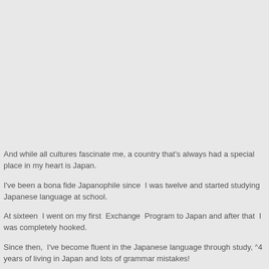And while all cultures fascinate me, a country that's always had a special place in my heart is Japan.
I've been a bona fide Japanophile since  I was twelve and started studying Japanese language at school.
At sixteen  I went on my first  Exchange  Program to Japan and after that  I was completely hooked.
Since then,  I've become fluent in the Japanese language through study, 4 years of living in Japan and lots of grammar mistakes!